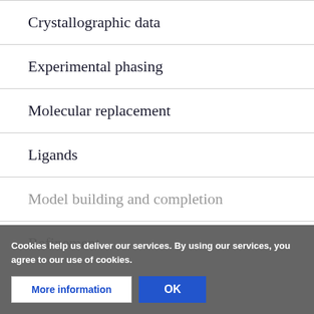Crystallographic data
Experimental phasing
Molecular replacement
Ligands
Model building and completion
Refinement
Cookies help us deliver our services. By using our services, you agree to our use of cookies.
More information
OK